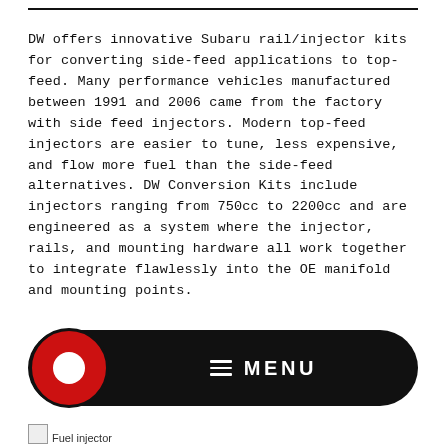DW offers innovative Subaru rail/injector kits for converting side-feed applications to top-feed. Many performance vehicles manufactured between 1991 and 2006 came from the factory with side feed injectors. Modern top-feed injectors are easier to tune, less expensive, and flow more fuel than the side-feed alternatives. DW Conversion Kits include injectors ranging from 750cc to 2200cc and are engineered as a system where the injector, rails, and mounting hardware all work together to integrate flawlessly into the OE manifold and mounting points.
[Figure (other): Mobile navigation menu bar with a red circular icon on the left and MENU text with hamburger icon in white on a black pill-shaped background]
Fuel injector